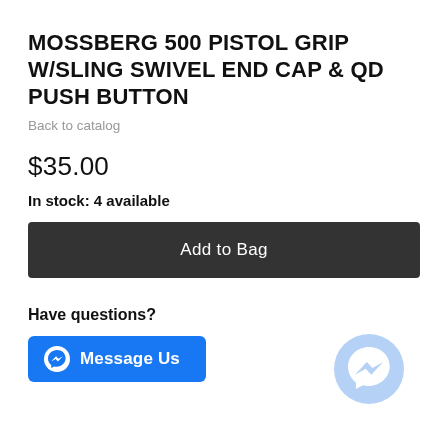MOSSBERG 500 PISTOL GRIP W/SLING SWIVEL END CAP & QD PUSH BUTTON
Back to catalog
$35.00
In stock: 4 available
Add to Bag
Have questions?
[Figure (other): Blue Facebook Messenger 'Message Us' button with messenger icon]
[Figure (other): Large light-blue Facebook Messenger chat bubble icon in bottom right corner]